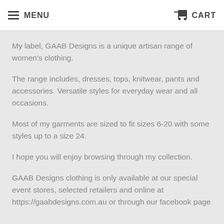MENU  CART
My label, GAAB Designs is a unique artisan range of women's clothing.
The range includes, dresses, tops, knitwear, pants and accessories. Versatile styles for everyday wear and all occasions.
Most of my garments are sized to fit sizes 6-20 with some styles up to a size 24.
I hope you will enjoy browsing through my collection.
GAAB Designs clothing is only available at our special event stores, selected retailers and online at https://gaabdesigns.com.au or through our facebook page